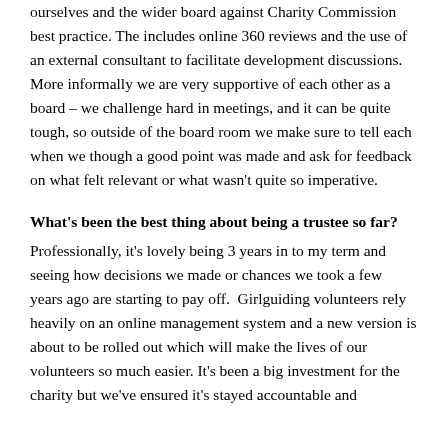ourselves and the wider board against Charity Commission best practice. The includes online 360 reviews and the use of an external consultant to facilitate development discussions.  More informally we are very supportive of each other as a board – we challenge hard in meetings, and it can be quite tough, so outside of the board room we make sure to tell each when we though a good point was made and ask for feedback on what felt relevant or what wasn't quite so imperative.
What's been the best thing about being a trustee so far?
Professionally, it's lovely being 3 years in to my term and seeing how decisions we made or chances we took a few years ago are starting to pay off.  Girlguiding volunteers rely heavily on an online management system and a new version is about to be rolled out which will make the lives of our volunteers so much easier. It's been a big investment for the charity but we've ensured it's stayed accountable and